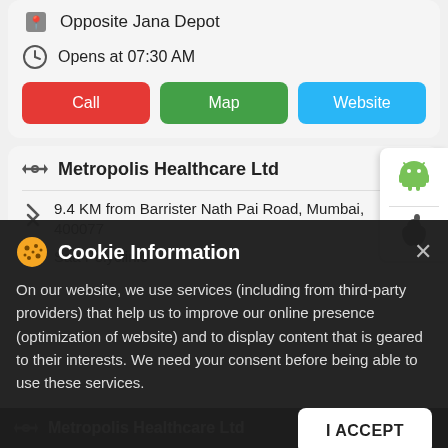Opposite Jana Depot
Opens at 07:30 AM
Call | Map | Website
Metropolis Healthcare Ltd
9.4 KM from Barrister Nath Pai Road, Mumbai, 400077
Saa Polyclinic
nkar Road, Agarwal Nagar Matunga
Cookie Information
On our website, we use services (including from third-party providers) that help us to improve our online presence (optimization of website) and to display content that is geared to their interests. We need your consent before being able to use these services.
I ACCEPT
Metropolis Healthcare Ltd